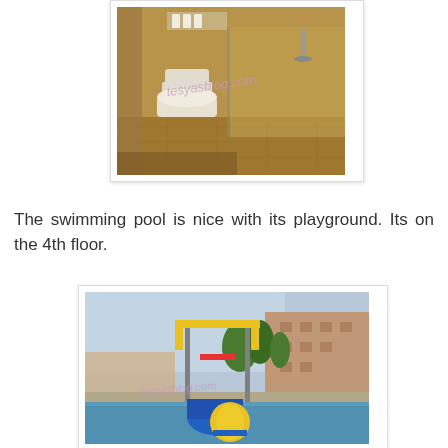[Figure (photo): Bathroom photo showing toilet and glass shower enclosure in a hotel room with warm golden-brown tiled walls. Watermark reads tesyasblog.com.]
The swimming pool is nice with its playground. Its on the 4th floor.
[Figure (photo): Outdoor swimming pool area with playground equipment in foreground (yellow and blue slide/tower structure). Background shows surrounding buildings and trees. Watermark reads tesyasblog.com.]